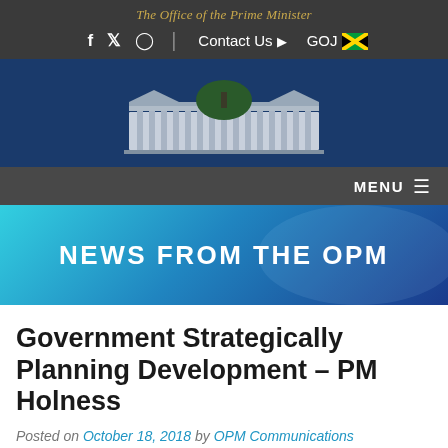The Office of the Prime Minister
f  y  ©  |  Contact Us ▶  GOJ 🇯🇲
[Figure (logo): Parliament building logo/crest of Jamaica]
MENU ≡
NEWS FROM THE OPM
Government Strategically Planning Development – PM Holness
Posted on October 18, 2018 by OPM Communications